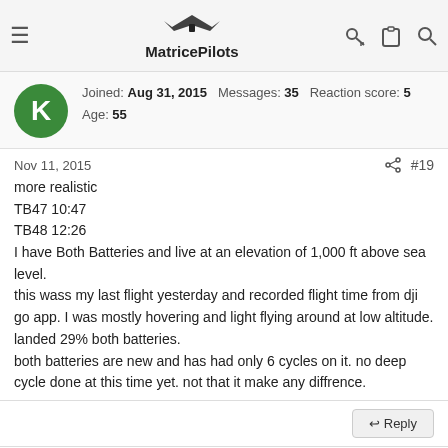MatricePilots
Joined: Aug 31, 2015  Messages: 35  Reaction score: 5  Age: 55
Nov 11, 2015  #19
more realistic
TB47 10:47
TB48 12:26
I have Both Batteries and live at an elevation of 1,000 ft above sea level.
this wass my last flight yesterday and recorded flight time from dji go app. I was mostly hovering and light flying around at low altitude. landed 29% both batteries.
both batteries are new and has had only 6 cycles on it. no deep cycle done at this time yet. not that it make any diffrence.
Marc meno